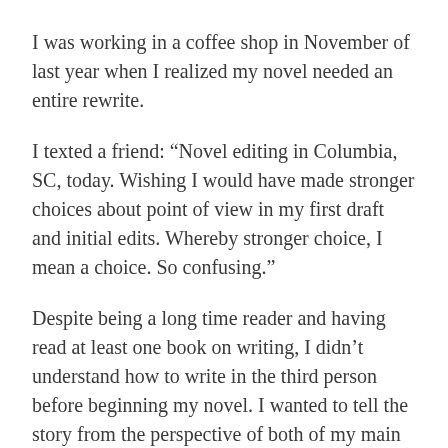I was working in a coffee shop in November of last year when I realized my novel needed an entire rewrite.
I texted a friend: “Novel editing in Columbia, SC, today. Wishing I would have made stronger choices about point of view in my first draft and initial edits. Whereby stronger choice, I mean a choice. So confusing.”
Despite being a long time reader and having read at least one book on writing, I didn’t understand how to write in the third person before beginning my novel. I wanted to tell the story from the perspective of both of my main characters, but instead of choosing one of them as the viewpoint character for a particular scene, I would go back and